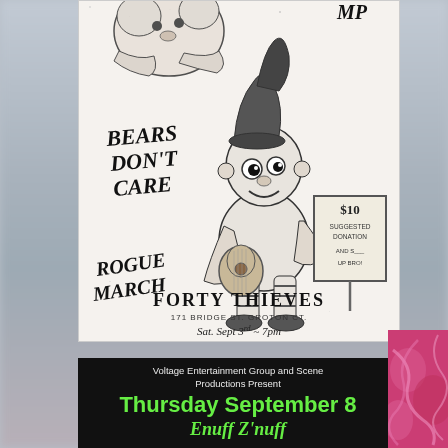[Figure (illustration): Black and white concert flyer illustration featuring a jester/gnome character playing guitar, a bear creature, text reading 'Bears Don't Care', 'Rogue March', 'Forty Thieves', '171 Bridge St. Groton CT', 'Sat. Sept 3rd ~ 7pm', '$10 Suggested Donation']
Voltage Entertainment Group and Scene Productions Present
Thursday September 8
Enuff Z'Nuff
[Figure (photo): Partial photo on right side showing what appears to be pink/red colored content, partially cropped]